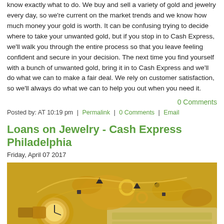know exactly what to do. We buy and sell a variety of gold and jewelry every day, so we're current on the market trends and we know how much money your gold is worth. It can be confusing trying to decide where to take your unwanted gold, but if you stop in to Cash Express, we'll walk you through the entire process so that you leave feeling confident and secure in your decision. The next time you find yourself with a bunch of unwanted gold, bring it in to Cash Express and we'll do what we can to make a fair deal. We rely on customer satisfaction, so we'll always do what we can to help you out when you need it.
0 Comments
Posted by: AT 10:19 pm  |  Permalink  |  0 Comments  |  Email
Loans on Jewelry - Cash Express Philadelphia
Friday, April 07 2017
[Figure (photo): Pile of gold jewelry including watches, necklaces, rings, and cash (dollar bills) underneath, displayed on a light background.]